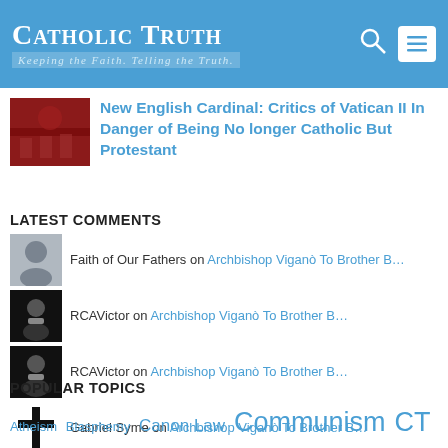Catholic Truth – Keeping the Faith. Telling the Truth.
New English Cardinal: Critics of Vatican II In Danger of Being No longer Catholic But Protestant
LATEST COMMENTS
Faith of Our Fathers on Archbishop Viganò To Brother B…
RCAVictor on Archbishop Viganò To Brother B…
RCAVictor on Archbishop Viganò To Brother B…
Gabriel Syme on Archbishop Viganò To Brother B…
Lily on Archbishop Viganò To Brother B…
POPULAR TOPICS
Atheism  Blasphemy  Canon Law  Communism  CT  No…  Imm…  Mo…